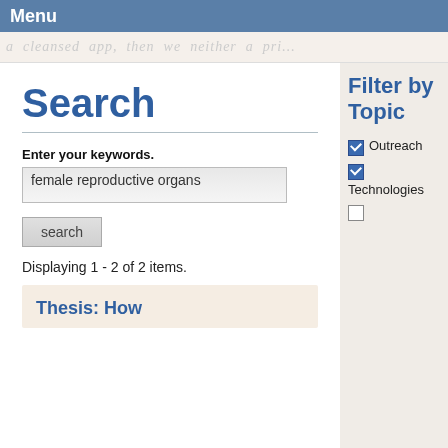Menu
a cleansed app, then we neither a pri...
Search
Enter your keywords.
female reproductive organs
search
Displaying 1 - 2 of 2 items.
Filter by Topic
Outreach
Technologies
Thesis: How